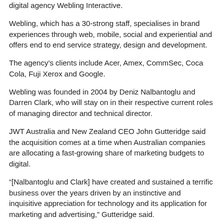digital agency Webling Interactive.
Webling, which has a 30-strong staff, specialises in brand experiences through web, mobile, social and experiential and offers end to end service strategy, design and development.
The agency's clients include Acer, Amex, CommSec, Coca Cola, Fuji Xerox and Google.
Webling was founded in 2004 by Deniz Nalbantoglu and Darren Clark, who will stay on in their respective current roles of managing director and technical director.
JWT Australia and New Zealand CEO John Gutteridge said the acquisition comes at a time when Australian companies are allocating a fast-growing share of marketing budgets to digital.
“[Nalbantoglu and Clark] have created and sustained a terrific business over the years driven by an instinctive and inquisitive appreciation for technology and its application for marketing and advertising,” Gutteridge said.
“We have worked with the team at Webling across multiple projects for a few years now. Our collective skills will help broaden and deepen our offering and, importantly, enable us to realise some exciting plans in the near future.”